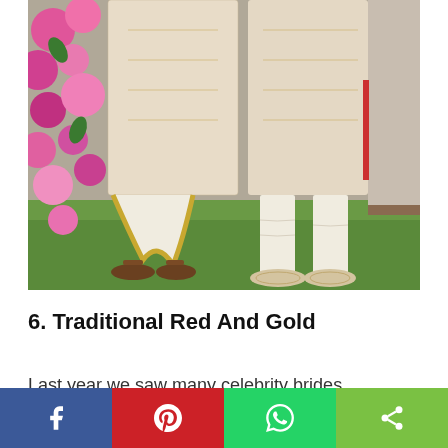[Figure (photo): Two men in cream/gold embroidered sherwanis standing on green grass. The left figure wears a dhoti with gold border and brown sandals; the right figure wears cream churidar and embroidered jutti shoes. A backdrop of pink flowers is visible on the left, and a plain wall on the right.]
6. Traditional Red And Gold
Last year we saw many celebrity brides